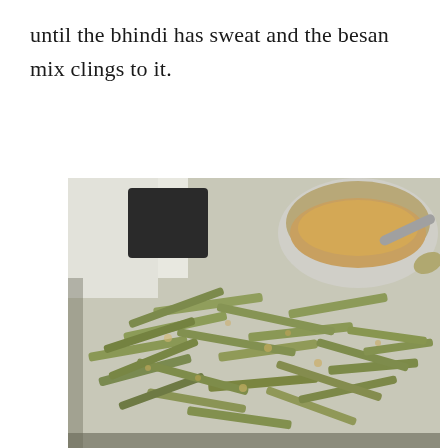until the bhindi has sweat and the besan mix clings to it.
[Figure (photo): A pile of sliced okra (bhindi) coated with besan (chickpea flour) spice mix, spread in a tray, with a bowl of the dry besan mixture and a spoon visible in the upper right background.]